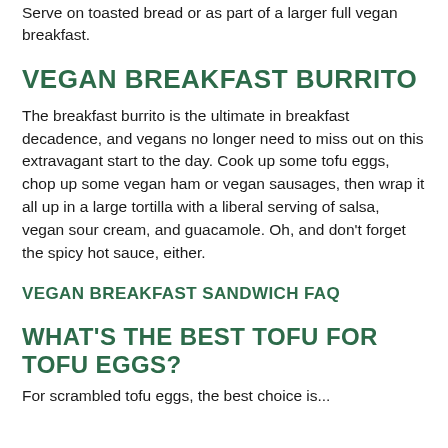Serve on toasted bread or as part of a larger full vegan breakfast.
VEGAN BREAKFAST BURRITO
The breakfast burrito is the ultimate in breakfast decadence, and vegans no longer need to miss out on this extravagant start to the day. Cook up some tofu eggs, chop up some vegan ham or vegan sausages, then wrap it all up in a large tortilla with a liberal serving of salsa, vegan sour cream, and guacamole. Oh, and don't forget the spicy hot sauce, either.
VEGAN BREAKFAST SANDWICH FAQ
WHAT'S THE BEST TOFU FOR TOFU EGGS?
For scrambled tofu eggs, the best choice is...